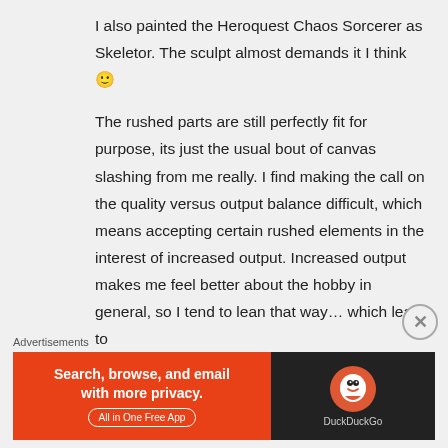I also painted the Heroquest Chaos Sorcerer as Skeletor. The sculpt almost demands it I think 🙂
The rushed parts are still perfectly fit for purpose, its just the usual bout of canvas slashing from me really. I find making the call on the quality versus output balance difficult, which means accepting certain rushed elements in the interest of increased output. Increased output makes me feel better about the hobby in general, so I tend to lean that way… which leads to
Advertisements
[Figure (other): DuckDuckGo advertisement banner with orange left panel reading 'Search, browse, and email with more privacy. All in One Free App' and dark right panel with DuckDuckGo logo]